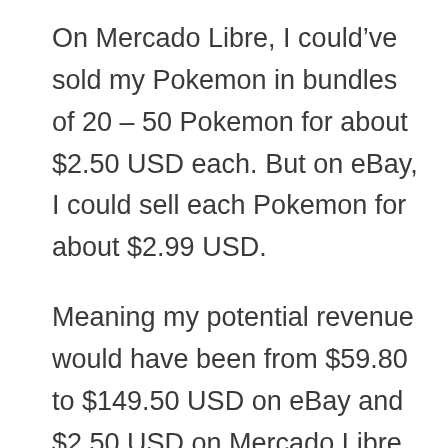On Mercado Libre, I could've sold my Pokemon in bundles of 20 – 50 Pokemon for about $2.50 USD each. But on eBay, I could sell each Pokemon for about $2.99 USD.
Meaning my potential revenue would have been from $59.80 to $149.50 USD on eBay and $2.50 USD on Mercado Libre (for selling the same amount of product).